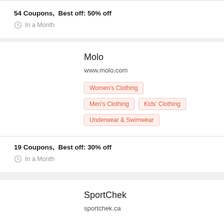54 Coupons,  Best off: 50% off
In a Month
Molo
www.molo.com
Women's Clothing
Men's Clothing
Kids' Clothing
Underwear & Swimwear
19 Coupons,  Best off: 30% off
In a Month
SportChek
sportchek.ca